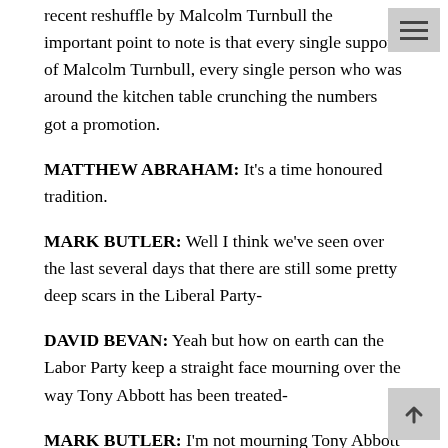recent reshuffle by Malcolm Turnbull the important point to note is that every single support of Malcolm Turnbull, every single person who was around the kitchen table crunching the numbers got a promotion.
MATTHEW ABRAHAM: It's a time honoured tradition.
MARK BUTLER: Well I think we've seen over the last several days that there are still some pretty deep scars in the Liberal Party-
DAVID BEVAN: Yeah but how on earth can the Labor Party keep a straight face mourning over the way Tony Abbott has been treated-
MARK BUTLER: I'm not mourning Tony Abbott moving on.
DAVID BEVAN: Well Bill Shorten has said how terrible it is and that leaders shouldn't be treated this way and he was